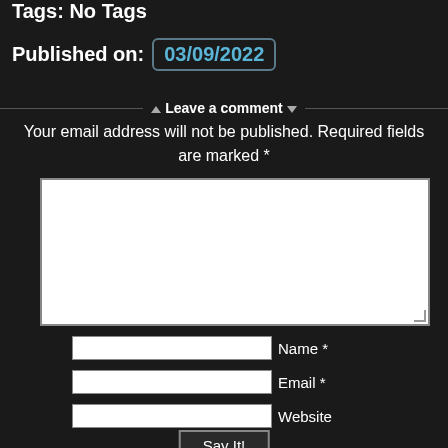Tags: No Tags
Published on: 03/09/2022
Leave a comment
Your email address will not be published. Required fields are marked *
[Figure (screenshot): Comment text area input box]
Name *
Email *
Website
Say It!